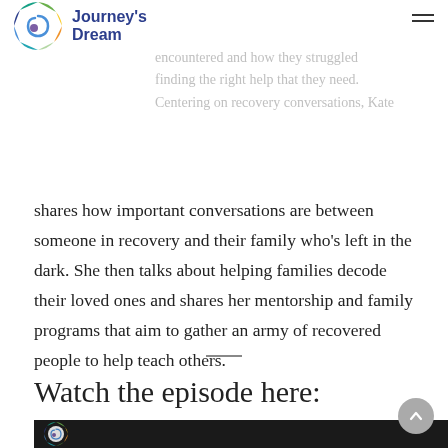[Figure (logo): Journey's Dream circular multicolor logo with spiral and text 'Journey's Dream']
President of Partners for Recovery. She talks about the many people she has encountered and how they struggled finding the right help that they need. Centering on recovery conversations, Kate shares how important conversations are between someone in recovery and their family who's left in the dark. She then talks about helping families decode their loved ones and shares her mentorship and family programs that aim to gather an army of recovered people to help teach others.
Watch the episode here:
[Figure (screenshot): Video thumbnail showing dark background with Journey's Dream logo visible at bottom left]